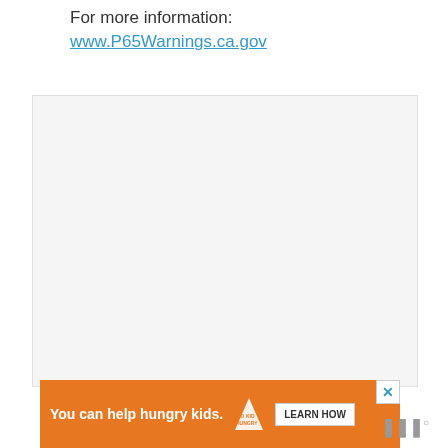For more information:
www.P65Warnings.ca.gov
[Figure (other): Gray placeholder box, likely an image or content area]
[Figure (other): Orange advertisement banner reading 'You can help hungry kids.' with No Kid Hungry logo and 'LEARN HOW' button]